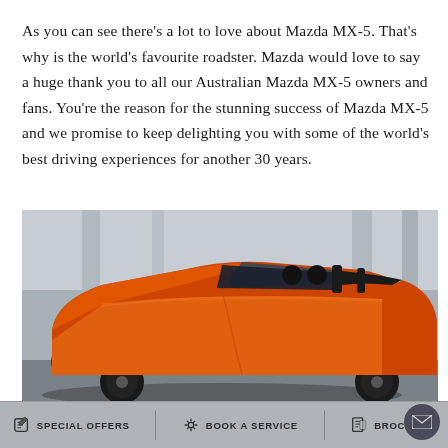As you can see there's a lot to love about Mazda MX-5. That's why is the world's favourite roadster. Mazda would love to say a huge thank you to all our Australian Mazda MX-5 owners and fans. You're the reason for the stunning success of Mazda MX-5 and we promise to keep delighting you with some of the world's best driving experiences for another 30 years.
[Figure (photo): Orange Mazda MX-5 roadster photographed from the front-left angle in a parking structure or concrete environment. The car is bright orange with black wheels and black interior.]
SPECIAL OFFERS | BOOK A SERVICE | BROCHURE